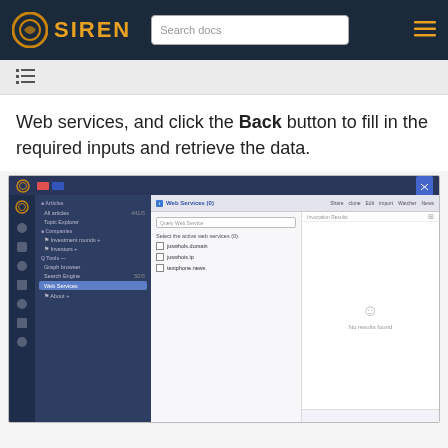SIREN — Search docs
Web services, and click the Back button to fill in the required inputs and retrieve the data.
[Figure (screenshot): Screenshot of the Siren application showing the Web Services panel with a left navigation sidebar, a query panel listing active web services (juswhois domain, juswhois ip, textphone news), and an empty Invocation Results panel showing a smiley face and 'No results found' message.]